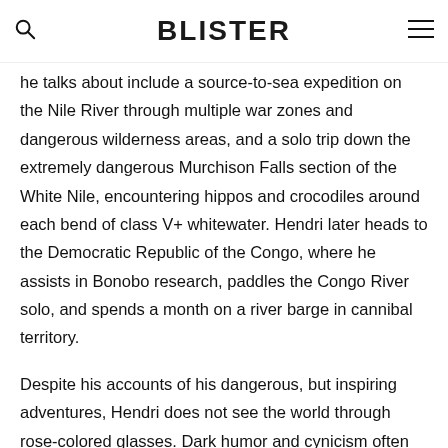BLISTER
he talks about include a source-to-sea expedition on the Nile River through multiple war zones and dangerous wilderness areas, and a solo trip down the extremely dangerous Murchison Falls section of the White Nile, encountering hippos and crocodiles around each bend of class V+ whitewater. Hendri later heads to the Democratic Republic of the Congo, where he assists in Bonobo research, paddles the Congo River solo, and spends a month on a river barge in cannibal territory.
Despite his accounts of his dangerous, but inspiring adventures, Hendri does not see the world through rose-colored glasses. Dark humor and cynicism often creep into his stories, revealing